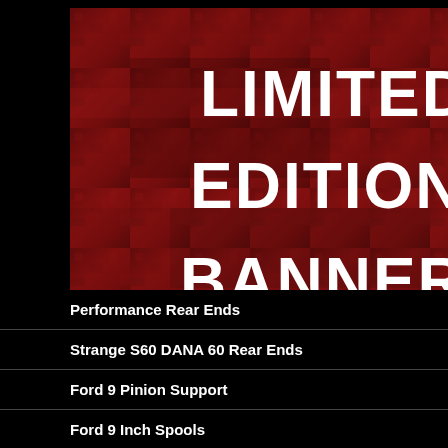[Figure (illustration): Red textured banner image with bold white text reading 'LIMITED EDITION BANNER!' on a dark red/maroon riveted metal background]
Performance Rear Ends
Strange S60 DANA 60 Rear Ends
Ford 9 Pinion Support
Ford 9 Inch Spools
Ford 9 Third Member